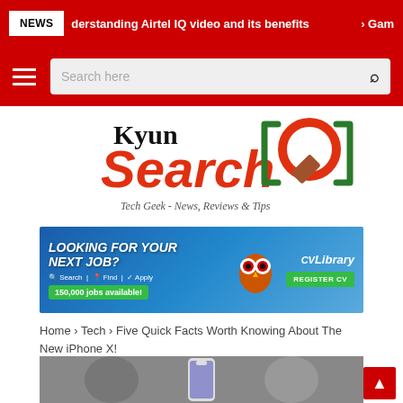NEWS  derstanding Airtel IQ video and its benefits  > Gam
[Figure (logo): KyunSearch logo with magnifying glass icon and tagline 'Tech Geek - News, Reviews & Tips']
[Figure (photo): CV Library job advertisement banner: 'LOOKING FOR YOUR NEXT JOB? 150,000 jobs available! Search | Find | Apply. REGISTER CV']
Home › Tech › Five Quick Facts Worth Knowing About The New iPhone X!
[Figure (photo): Article header image showing a person holding a new iPhone X with orange/red background]